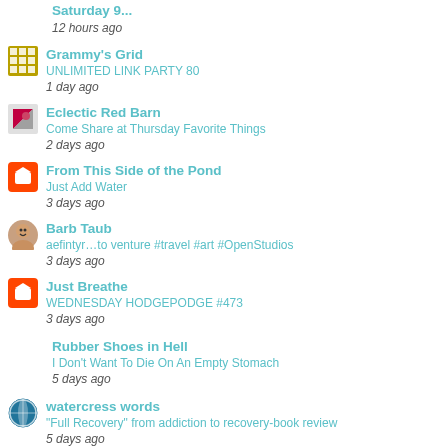Saturday 9...
12 hours ago
Grammy's Grid
UNLIMITED LINK PARTY 80
1 day ago
Eclectic Red Barn
Come Share at Thursday Favorite Things
2 days ago
From This Side of the Pond
Just Add Water
3 days ago
Barb Taub
aefintyr…to venture #travel #art #OpenStudios
3 days ago
Just Breathe
WEDNESDAY HODGEPODGE #473
3 days ago
Rubber Shoes in Hell
I Don't Want To Die On An Empty Stomach
5 days ago
watercress words
"Full Recovery" from addiction to recovery-book review
5 days ago